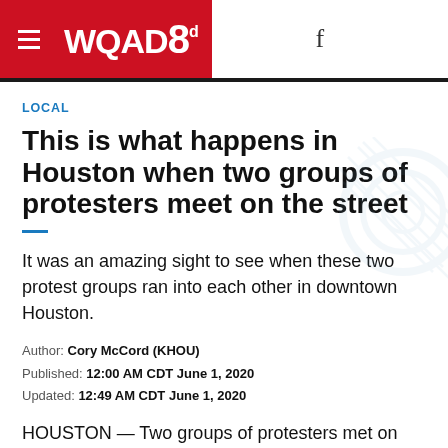WQAD8
LOCAL
This is what happens in Houston when two groups of protesters meet on the street
It was an amazing sight to see when these two protest groups ran into each other in downtown Houston.
Author: Cory McCord (KHOU)
Published: 12:00 AM CDT June 1, 2020
Updated: 12:49 AM CDT June 1, 2020
HOUSTON — Two groups of protesters met on the